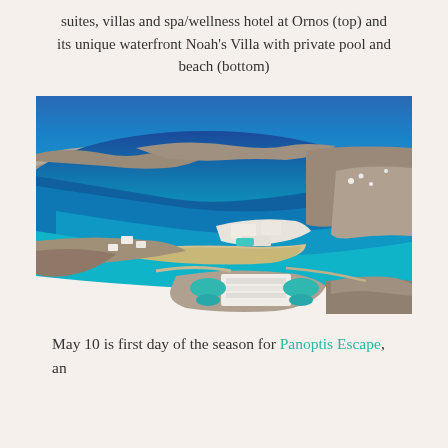suites, villas and spa/wellness hotel at Ornos (top) and its unique waterfront Noah's Villa with private pool and beach (bottom)
[Figure (photo): Aerial photograph of a Greek island bay (Mykonos/Ornos area) showing deep blue sea, a sandy beach curving around a bay, rocky hillsides, white buildings of a resort/villa complex in the foreground, and the broader island landscape with settlements in the background.]
May 10 is first day of the season for Panoptis Escape, an